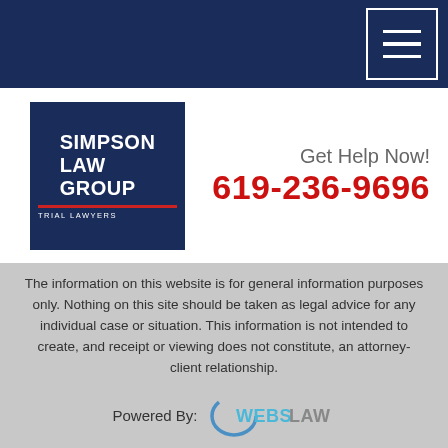Navigation menu bar with hamburger icon
[Figure (logo): Simpson Law Group Trial Lawyers logo — dark navy blue square with white bold text reading SIMPSON LAW GROUP, a red underline, and TRIAL LAWYERS in small white caps]
Get Help Now!
619-236-9696
The information on this website is for general information purposes only. Nothing on this site should be taken as legal advice for any individual case or situation. This information is not intended to create, and receipt or viewing does not constitute, an attorney-client relationship.
Powered By: WebsLaw